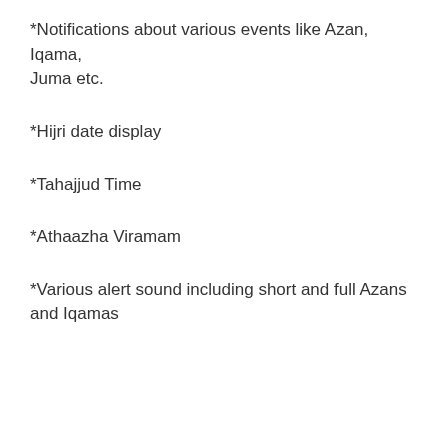*Notifications about various events like Azan, Iqama, Juma etc.
*Hijri date display
*Tahajjud Time
*Athaazha Viramam
*Various alert sound including short and full Azans and Iqamas